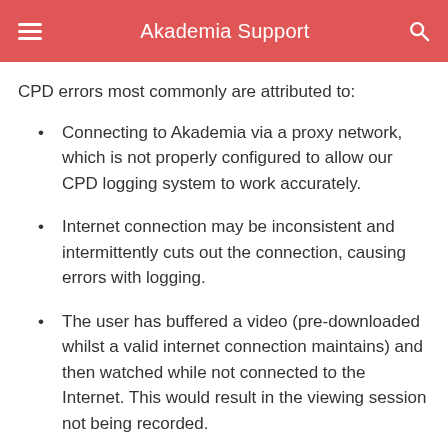Akademia Support
CPD errors most commonly are attributed to:
Connecting to Akademia via a proxy network, which is not properly configured to allow our CPD logging system to work accurately.
Internet connection may be inconsistent and intermittently cuts out the connection, causing errors with logging.
The user has buffered a video (pre-downloaded whilst a valid internet connection maintains) and then watched while not connected to the Internet. This would result in the viewing session not being recorded.